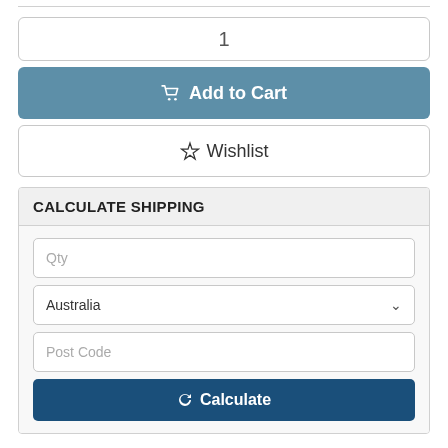1
Add to Cart
Wishlist
CALCULATE SHIPPING
Qty
Australia
Post Code
Calculate